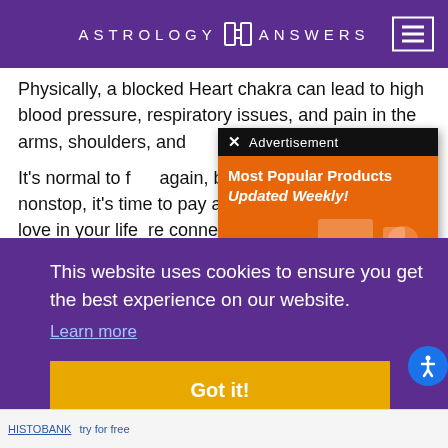ASTROLOGY ANSWERS
Physically, a blocked Heart chakra can lead to high blood pressure, respiratory issues, and pain in the arms, shoulders, and [obscured]
It's normal to feel [obscured] again, but if you've been fe[obscured] nonstop, it's time to pay atte[obscured] ou want more love in your life[obscured] re connected [obscured] rt [obscured] center
[Figure (screenshot): Advertisement popup overlay showing 'Most Popular Products Updated Weekly!' text on orange background with product icons, over a black title bar]
This website uses cookies to ensure you get the best experience on our website.
Learn more
Got it!